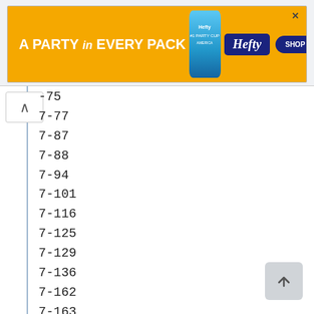[Figure (other): Hefty advertisement banner: orange background with text 'A PARTY in EVERY PACK', Hefty cup image, Hefty logo, and SHOP NOW button]
-75
7-77
7-87
7-88
7-94
7-101
7-116
7-125
7-129
7-136
7-162
7-163
June, 2008
7-1
Wiring Data